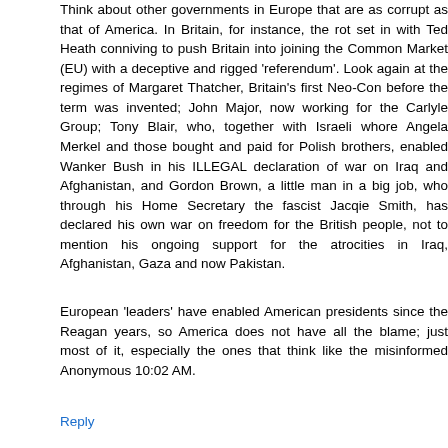Think about other governments in Europe that are as corrupt as that of America. In Britain, for instance, the rot set in with Ted Heath conniving to push Britain into joining the Common Market (EU) with a deceptive and rigged 'referendum'. Look again at the regimes of Margaret Thatcher, Britain's first Neo-Con before the term was invented; John Major, now working for the Carlyle Group; Tony Blair, who, together with Israeli whore Angela Merkel and those bought and paid for Polish brothers, enabled Wanker Bush in his ILLEGAL declaration of war on Iraq and Afghanistan, and Gordon Brown, a little man in a big job, who through his Home Secretary the fascist Jacqie Smith, has declared his own war on freedom for the British people, not to mention his ongoing support for the atrocities in Iraq, Afghanistan, Gaza and now Pakistan.
European 'leaders' have enabled American presidents since the Reagan years, so America does not have all the blame; just most of it, especially the ones that think like the misinformed Anonymous 10:02 AM.
Reply